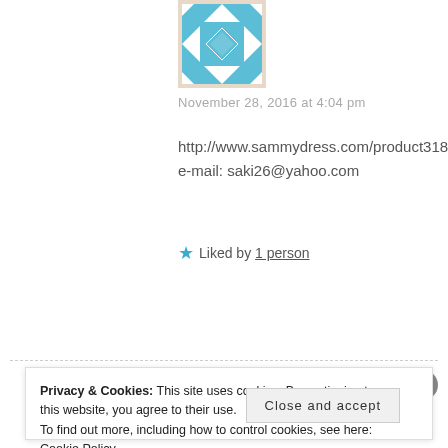[Figure (illustration): Square avatar image with blue and white geometric/quilt pattern design]
November 28, 2016 at 4:04 pm
http://www.sammydress.com/product3187
e-mail: saki26@yahoo.com
★ Liked by 1 person
REPLY
Privacy & Cookies: This site uses cookies. By continuing to use this website, you agree to their use.
To find out more, including how to control cookies, see here: Cookie Policy
Close and accept